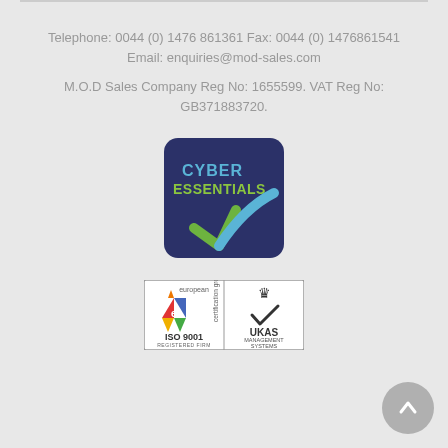Telephone: 0044 (0) 1476 861361 Fax: 0044 (0) 1476861541
Email: enquiries@mod-sales.com
M.O.D Sales Company Reg No: 1655599. VAT Reg No: GB371883720.
[Figure (logo): Cyber Essentials badge - dark navy rounded square with 'CYBER ESSENTIALS' text in blue/green and a checkmark in green and blue]
[Figure (logo): European Certification Group ISO 9001 Registered Firm badge with UKAS Management Systems logo, number 054]